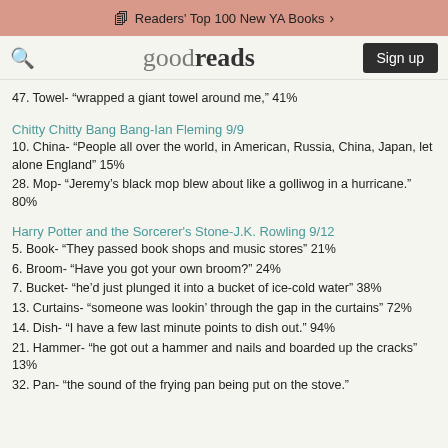Readers' Top 100 New YA Books >
goodreads  Sign up
47. Towel- “wrapped a giant towel around me,” 41%
Chitty Chitty Bang Bang-Ian Fleming 9/9
10. China- “People all over the world, in American, Russia, China, Japan, let alone England” 15%
28. Mop- “Jeremy’s black mop blew about like a golliwog in a hurricane.” 80%
Harry Potter and the Sorcerer's Stone-J.K. Rowling 9/12
5. Book- “They passed book shops and music stores” 21%
6. Broom- “Have you got your own broom?” 24%
7. Bucket- “he’d just plunged it into a bucket of ice-cold water” 38%
13. Curtains- “someone was lookin’ through the gap in the curtains” 72%
14. Dish- “I have a few last minute points to dish out.” 94%
21. Hammer- “he got out a hammer and nails and boarded up the cracks” 13%
32. Pan- “the sound of the frying pan being put on the stove.”